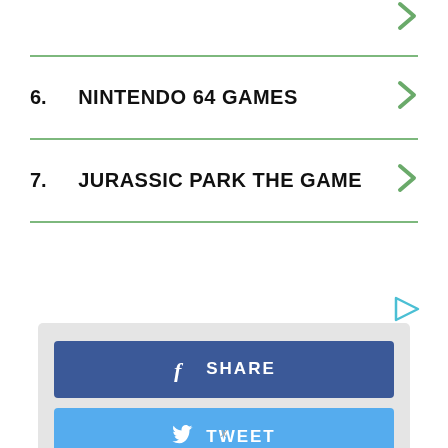6.  NINTENDO 64 GAMES
7.  JURASSIC PARK THE GAME
[Figure (other): Social share buttons: Facebook SHARE (blue) and Twitter TWEET (light blue)]